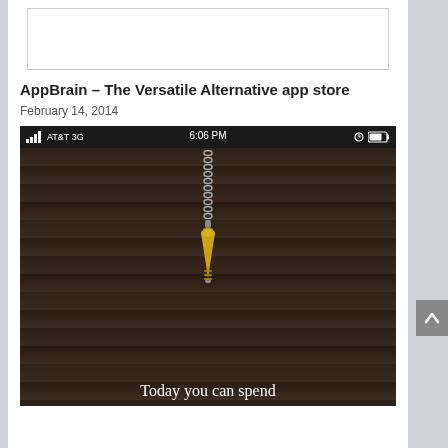[Figure (screenshot): White rectangle placeholder image at top of article]
AppBrain – The Versatile Alternative app store
February 14, 2014
[Figure (screenshot): iPhone screenshot showing AT&T 3G status bar at 6:06 PM, dark wood background with hanging golden pendulum/light pull chain, text at bottom reads 'Today you can spend']